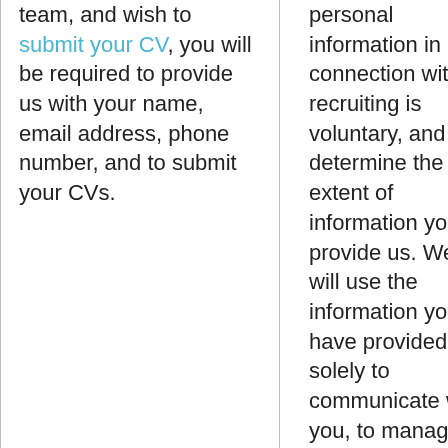team, and wish to submit your CV, you will be required to provide us with your name, email address, phone number, and to submit your CVs.
personal information in connection with recruiting is voluntary, and you determine the extent of information you provide us. We will use the information you have provided solely to communicate with you, to manage our recruiting and hiring processes, and to comply with corporate